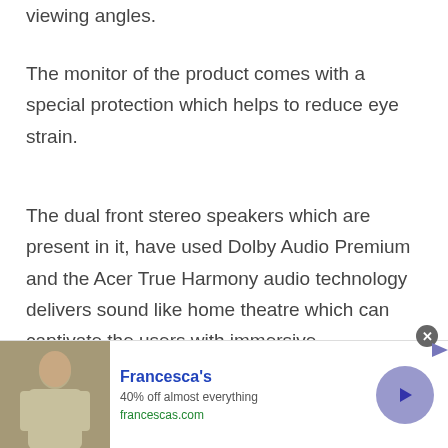viewing angles.
The monitor of the product comes with a special protection which helps to reduce eye strain.
The dual front stereo speakers which are present in it, have used Dolby Audio Premium and the Acer True Harmony audio technology delivers sound like home theatre which can captivate the users with immersive entertainment.
[Figure (other): Advertisement banner for Francesca's: '40% off almost everything', francescas.com, with a photo of a woman and a blue circular arrow button]